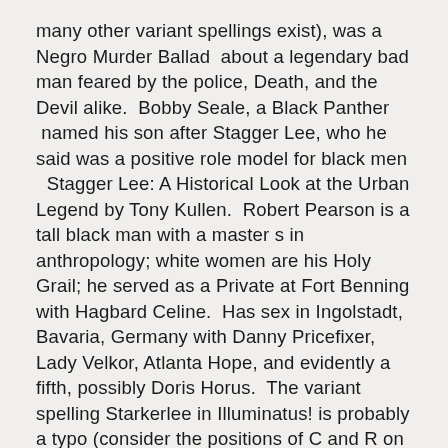many other variant spellings exist), was a Negro Murder Ballad  about a legendary bad man feared by the police, Death, and the Devil alike.  Bobby Seale, a Black Panther  named his son after Stagger Lee, who he said was a positive role model for black men   Stagger Lee: A Historical Look at the Urban Legend by Tony Kullen.  Robert Pearson is a tall black man with a master s in anthropology; white women are his Holy Grail; he served as a Private at Fort Benning with Hagbard Celine.  Has sex in Ingolstadt, Bavaria, Germany with Danny Pricefixer, Lady Velkor, Atlanta Hope, and evidently a fifth, possibly Doris Horus.  The variant spelling Starkerlee in Illuminatus! is probably a typo (consider the positions of C and R on a keyboard), but does also suggest the variant spellings of the name in the song.  I27; I114; I145; I372; I393, G103.